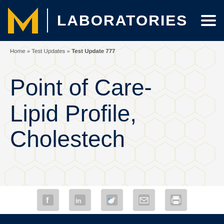[Figure (logo): University of Michigan M Laboratories logo with navy background header bar and hamburger menu icon]
Home » Test Updates » Test Update 777
Point of Care- Lipid Profile, Cholestech
[Figure (infographic): Social sharing icons: Facebook, LinkedIn, Twitter, Email, Print]
TEST OVERVIEW